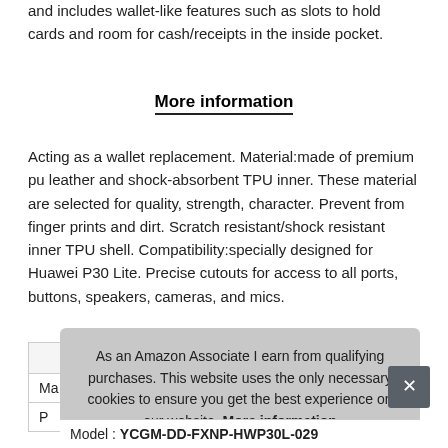and includes wallet-like features such as slots to hold cards and room for cash/receipts in the inside pocket.
More information
Acting as a wallet replacement. Material:made of premium pu leather and shock-absorbent TPU inner. These material are selected for quality, strength, character. Prevent from finger prints and dirt. Scratch resistant/shock resistant inner TPU shell. Compatibility:specially designed for Huawei P30 Lite. Precise cutouts for access to all ports, buttons, speakers, cameras, and mics.
| Ma |  |
| P |  |
As an Amazon Associate I earn from qualifying purchases. This website uses the only necessary cookies to ensure you get the best experience on our website. More information
Model : YCGM-DD-FXNP-HWP30L-029